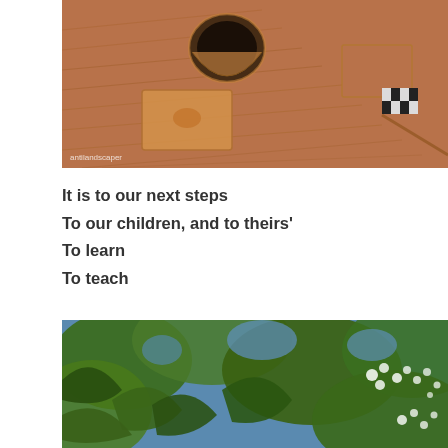[Figure (photo): Aerial view of an arid landscape with a circular pit/mine opening and rectangular earthworks. Attributed to 'antilandscaper'.]
It is to our next steps
To our children, and to theirs'
To learn
To teach
[Figure (photo): Close-up photo of green leafy branches with small white flowers and blue sky visible in the background.]